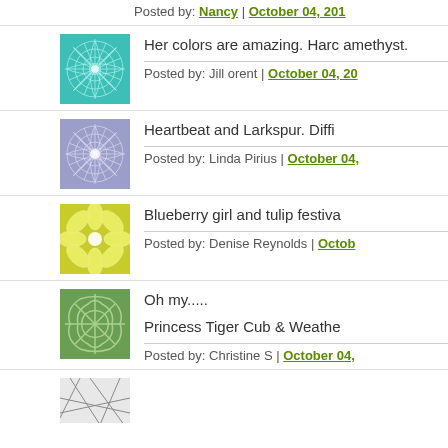Posted by: Nancy | October 04, 2011
[Figure (illustration): Teal/turquoise mandala flower pattern avatar]
Her colors are amazing. Harc amethyst.
Posted by: Jill orent | October 04, 20...
[Figure (illustration): Lavender/blue mandala flower pattern avatar]
Heartbeat and Larkspur. Diffi
Posted by: Linda Pirius | October 04,...
[Figure (illustration): Yellow-green sunflower pattern avatar]
Blueberry girl and tulip festiva
Posted by: Denise Reynolds | Octob
[Figure (illustration): Green cell/pebble pattern avatar]
Oh my.....
Princess Tiger Cub & Weathe
Posted by: Christine S | October 04,...
[Figure (illustration): Sketch/line drawing avatar (partially visible)]